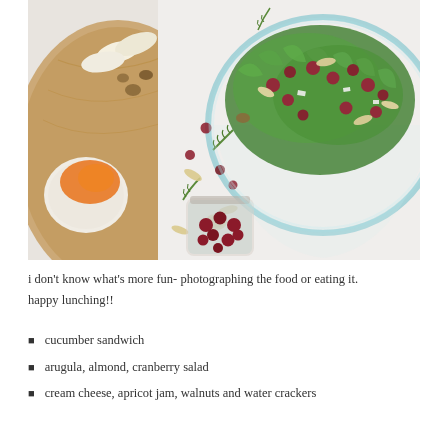[Figure (photo): Food photography showing a wooden cutting board with cream cheese topped with apricot jam, water crackers, and walnuts on the left; a glass bowl filled with arugula, cranberry, and almond salad on the right; a small glass jar of cranberries at the bottom center; scattered almonds, cranberries, and rosemary sprigs on a white surface.]
i don't know what's more fun- photographing the food or eating it. happy lunching!!
cucumber sandwich
arugula, almond, cranberry salad
cream cheese, apricot jam, walnuts and water crackers